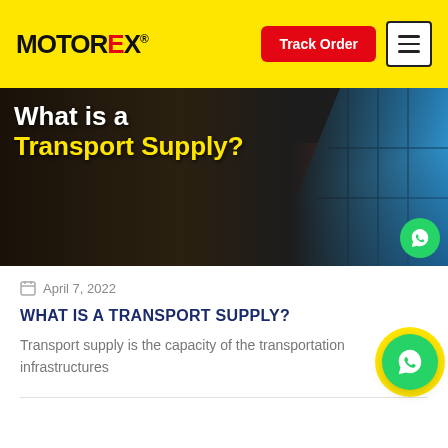MOTOREX — Track Order
[Figure (photo): Hero image for blog post showing trucks with shipping containers, with 'What is a Transport Supply?' text overlay in white and yellow on a dark background, and blue shipping containers on the right side]
April 7, 2022
WHAT IS A TRANSPORT SUPPLY?
Transport supply is the capacity of the transportation infrastructures